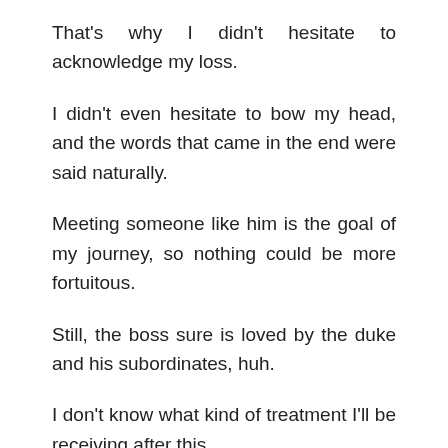That's why I didn't hesitate to acknowledge my loss.
I didn't even hesitate to bow my head, and the words that came in the end were said naturally.
Meeting someone like him is the goal of my journey, so nothing could be more fortuitous.
Still, the boss sure is loved by the duke and his subordinates, huh.
I don't know what kind of treatment I'll be receiving after this.
But I'm sure I'll be fired from the laundromat.
I probably won't be able to approach them anymore